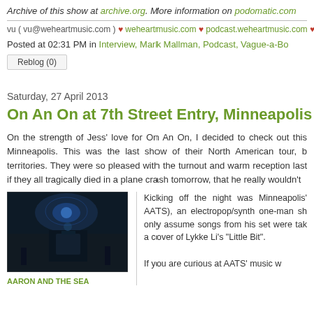Archive of this show at archive.org. More information on podomatic.com
vu ( vu@weheartmusic.com ) ♥ weheartmusic.com ♥ podcast.weheartmusic.com ♥ twitte
Posted at 02:31 PM in Interview, Mark Mallman, Podcast, Vague-a-Bo
Reblog (0)
Saturday, 27 April 2013
On An On at 7th Street Entry, Minneapolis (04/
On the strength of Jess' love for On An On, I decided to check out this Minneapolis. This was the last show of their North American tour, b territories. They were so pleased with the turnout and warm reception last if they all tragically died in a plane crash tomorrow, that he really wouldn't
[Figure (photo): Concert photo of a performer at 7th Street Entry, dark stage with blue lighting]
AARON AND THE SEA
Kicking off the night was Minneapolis' AATS), an electropop/synth one-man sh only assume songs from his set were tak a cover of Lykke Li's "Little Bit".
If you are curious at AATS' music w